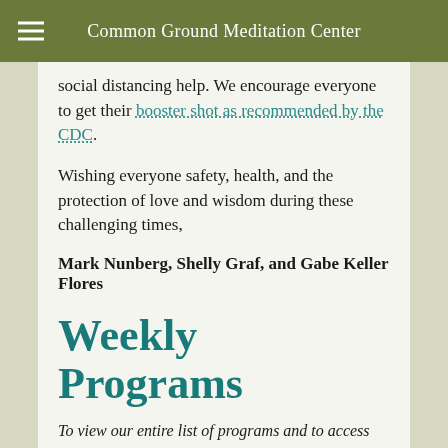Common Ground Meditation Center
social distancing help. We encourage everyone to get their booster shot as recommended by the CDC.
Wishing everyone safety, health, and the protection of love and wisdom during these challenging times,
Mark Nunberg, Shelly Graf, and Gabe Keller Flores
Weekly Programs
To view our entire list of programs and to access Zoom links to participate in online programs, please visit the online calendar.
Weekly Practice C...